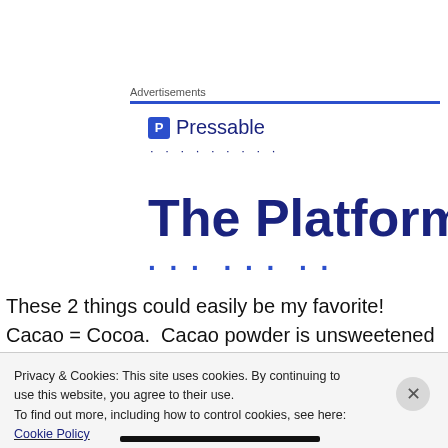Advertisements
[Figure (logo): Pressable logo with blue square icon containing letter P, followed by the text 'Pressable' in dark blue, with a row of dots below]
The Platform
These 2 things could easily be my favorite!  Cacao = Cocoa.  Cacao powder is unsweetened and usually raw.  It
Privacy & Cookies: This site uses cookies. By continuing to use this website, you agree to their use.
To find out more, including how to control cookies, see here: Cookie Policy
Close and accept